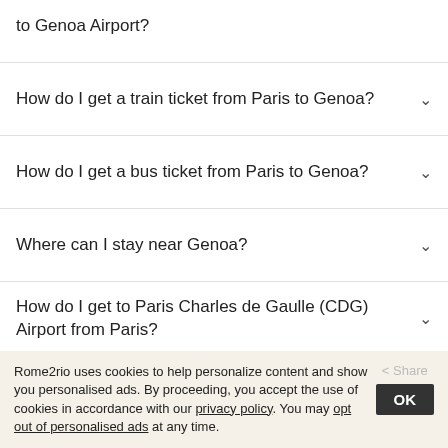to Genoa Airport?
How do I get a train ticket from Paris to Genoa?
How do I get a bus ticket from Paris to Genoa?
Where can I stay near Genoa?
How do I get to Paris Charles de Gaulle (CDG) Airport from Paris?
France → Italy
Unrestricted
Rome2rio uses cookies to help personalize content and show you personalised ads. By proceeding, you accept the use of cookies in accordance with our privacy policy. You may opt out of personalised ads at any time.